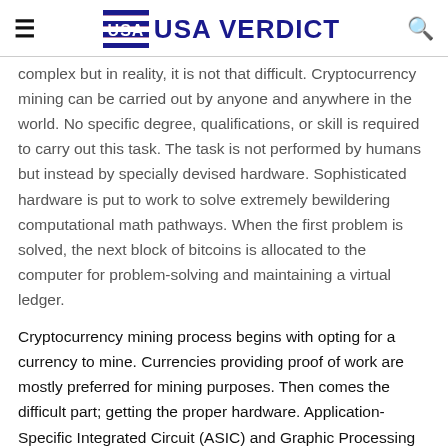USA VERDICT
complex but in reality, it is not that difficult. Cryptocurrency mining can be carried out by anyone and anywhere in the world. No specific degree, qualifications, or skill is required to carry out this task. The task is not performed by humans but instead by specially devised hardware. Sophisticated hardware is put to work to solve extremely bewildering computational math pathways. When the first problem is solved, the next block of bitcoins is allocated to the computer for problem-solving and maintaining a virtual ledger.
Cryptocurrency mining process begins with opting for a currency to mine. Currencies providing proof of work are mostly preferred for mining purposes. Then comes the difficult part; getting the proper hardware. Application-Specific Integrated Circuit (ASIC) and Graphic Processing Units (GPU) are the two main hardware used for mining. Purchasing these technologies